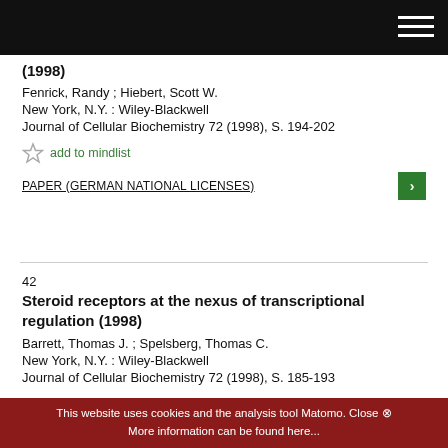(1998)
Fenrick, Randy ; Hiebert, Scott W.
New York, N.Y. : Wiley-Blackwell
Journal of Cellular Biochemistry 72 (1998), S. 194-202
add to mindlist
PAPER (GERMAN NATIONAL LICENSES)
42
Steroid receptors at the nexus of transcriptional regulation (1998)
Barrett, Thomas J. ; Spelsberg, Thomas C.
New York, N.Y. : Wiley-Blackwell
Journal of Cellular Biochemistry 72 (1998), S. 185-193
This website uses cookies and the analysis tool Matomo. Close ⊗ More information can be found here...